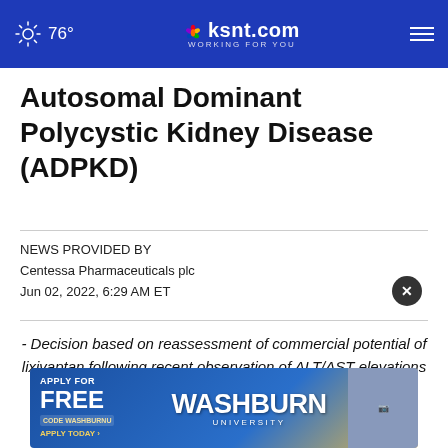76° ksnt.com WORKING FOR YOU
Autosomal Dominant Polycystic Kidney Disease (ADPKD)
NEWS PROVIDED BY
Centessa Pharmaceuticals plc
Jun 02, 2022, 6:29 AM ET
- Decision based on reassessment of commercial potential of lixivaptan following recent observation of ALT/AST elevations in ALERT Study -
- Discontinuation of lixivaptan development
[Figure (screenshot): Washburn University advertisement banner with 'APPLY FOR FREE' text, CODE WASHBURNU, and APPLY TODAY button]